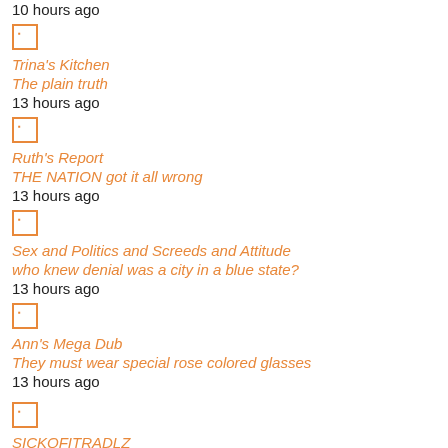10 hours ago
Trina's Kitchen
The plain truth
13 hours ago
Ruth's Report
THE NATION got it all wrong
13 hours ago
Sex and Politics and Screeds and Attitude
who knew denial was a city in a blue state?
13 hours ago
Ann's Mega Dub
They must wear special rose colored glasses
13 hours ago
SICKOFITRADLZ
I am the leader